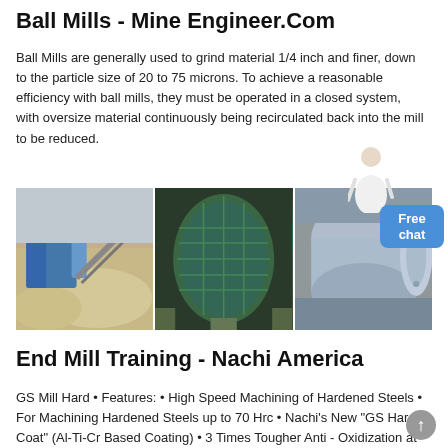Ball Mills - Mine Engineer.Com
Ball Mills are generally used to grind material 1/4 inch and finer, down to the particle size of 20 to 75 microns. To achieve a reasonable efficiency with ball mills, they must be operated in a closed system, with oversize material continuously being recirculated back into the mill to be reduced.
[Figure (photo): Three industrial ball mill photos side by side: left shows a crushing/screening plant with blue machinery and gravel; center shows a large green rotating ball mill drum; right shows gray cylindrical grinding mill equipment.]
End Mill Training - Nachi America
GS Mill Hard • Features: • High Speed Machining of Hardened Steels • For Machining Hardened Steels up to 70 Hrc • Nachi's New "GS Hard Coat" (Al-Ti-Cr Based Coating) • 3 Times Tougher Anti - Oxidization at 1,100° C • Work Materials: • Pre-Hardened Steels, Mold Steels, Hardened Steels H13, D2, M2 (45-69 Hrc) GS Mill Hard